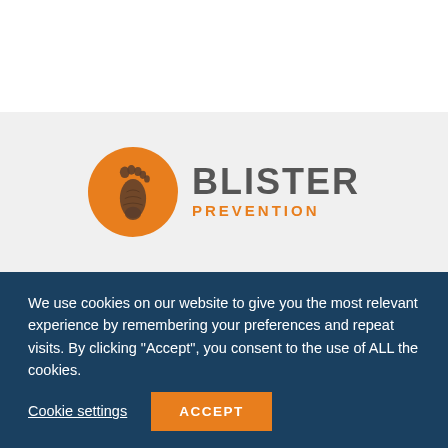[Figure (logo): Blister Prevention logo with orange circle containing a footprint silhouette, and text BLISTER PREVENTION beside it]
We use cookies on our website to give you the most relevant experience by remembering your preferences and repeat visits. By clicking “Accept”, you consent to the use of ALL the cookies.
Cookie settings
ACCEPT